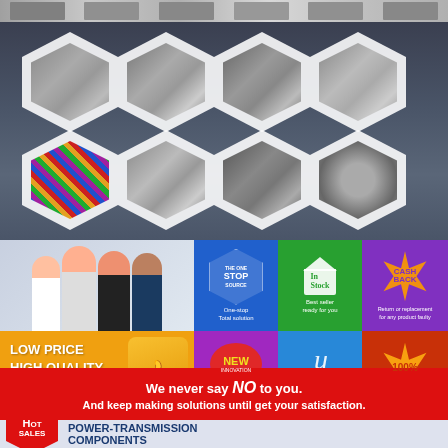[Figure (photo): Top banner strip showing industrial chain and machinery product photos]
[Figure (photo): Grid of 8 hexagonal product images showing various types of chains, sprockets, and transmission components on a mountain/snow background]
[Figure (infographic): Marketing info section with 8 tiles: people photo, One Stop Source badge, In Stock badge, Cash Back badge; Low Price High Quality Best Service Great Credit, New Innovation badge, Exclusive Design badge, 100% quality checking badge]
We never say NO to you.
And keep making solutions until get your satisfaction.
[Figure (infographic): Bottom section with Hot Sales label, Power-Transmission Components heading, and chain product image]